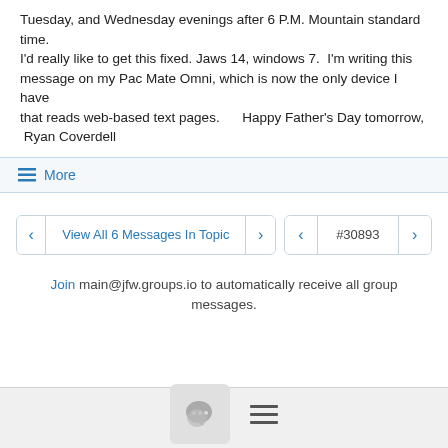Tuesday, and Wednesday evenings after 6 P.M. Mountain standard time.
I'd really like to get this fixed. Jaws 14, windows 7.  I'm writing this message on my Pac Mate Omni, which is now the only device I have
that reads web-based text pages.      Happy Father's Day tomorrow,
 Ryan Coverdell
≡ More
View All 6 Messages In Topic   #30893
Join main@jfw.groups.io to automatically receive all group messages.